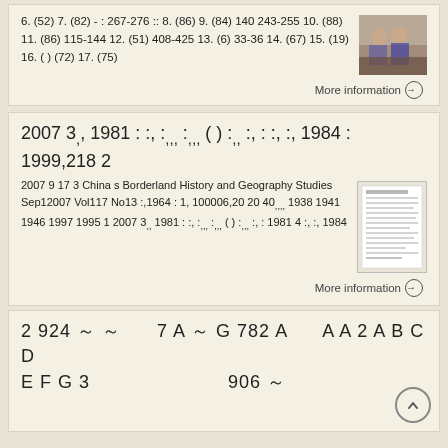6. (52) 7. (82) - : 267-276 :: 8. (86) 9. (84) 140 243-255 10. (88) 11. (86) 115-144 12. (51) 408-425 13. (6) 33-36 14. (67) 15. (19) 16. ( ) (72) 17. (75)
More information →
2007 3,, 1981 : :, :,,,, :,,,  ( ) :,,  :,  : :,  :, 1984 : 1999,218 2
2007 9 17 3 China s Borderland History and Geography Studies Sep12007 Vol117 No13 :,1964 : 1, 100006,20 20 40,,,, 1938 1941 1946 1997 1995 1 2007 3,, 1981 : :, :,,,, :,,, ( ) :,,, :, : 1981 4 :, :, 1984
More information →
2 924 ～ ～      7 A ～ G 782 A      A A 2 A B C D E F G 3                         906 ～